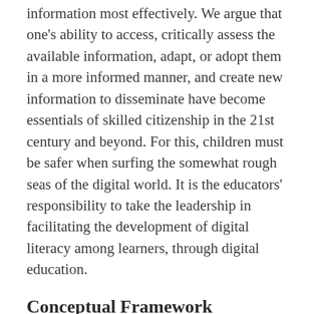information most effectively. We argue that one's ability to access, critically assess the available information, adapt, or adopt them in a more informed manner, and create new information to disseminate have become essentials of skilled citizenship in the 21st century and beyond. For this, children must be safer when surfing the somewhat rough seas of the digital world. It is the educators' responsibility to take the leadership in facilitating the development of digital literacy among learners, through digital education.
Conceptual Framework
The current study was planned and implemented grounded on the conceptual framework of C‑DELTA Programme.